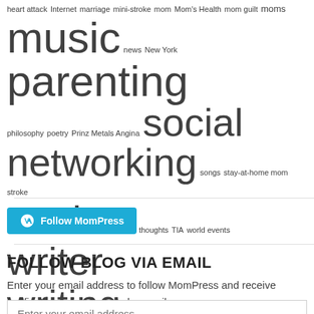heart attack Internet marriage mini-stroke mom Mom's Health mom guilt moms music news New York parenting philosophy poetry Prinz Metals Angina social networking songs stay-at-home mom stroke student thoughts TIA world events writer writing
[Figure (other): Follow MomPress button with WordPress logo in teal/blue color]
FOLLOW BLOG VIA EMAIL
Enter your email address to follow MomPress and receive notifications of new posts by email.
Enter your email address